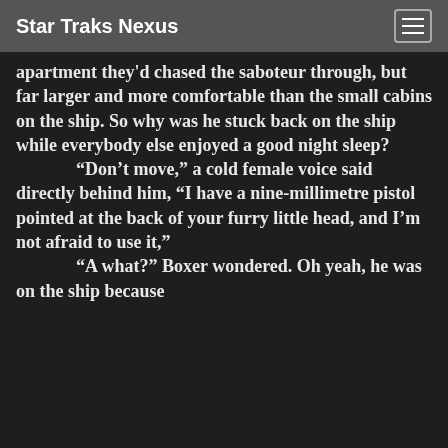Star Traks Nexus
apartment they'd chased the saboteur through, but far larger and more comfortable than the small cabins on the ship. So why was he stuck back on the ship while everybody else enjoyed a good night sleep?
“Don’t move,” a cold female voice said directly behind him, “I have a nine-millimetre pistol pointed at the back of your furry little head, and I’m not afraid to use it,”
“A what?” Boxer wondered. Oh yeah, he was on the ship because